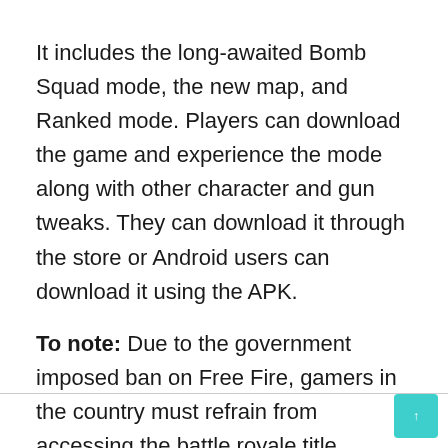It includes the long-awaited Bomb Squad mode, the new map, and Ranked mode. Players can download the game and experience the mode along with other character and gun tweaks. They can download it through the store or Android users can download it using the APK.
To note: Due to the government imposed ban on Free Fire, gamers in the country must refrain from accessing the battle royale title. However, they can use their account in the MAX version, since it was not among the prohibited applications.